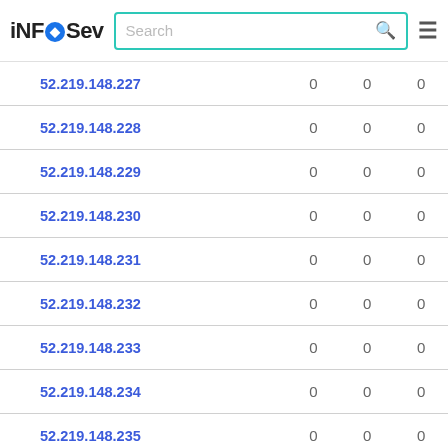iNFOSev | Search
| IP |  |  |  |
| --- | --- | --- | --- |
| 52.219.148.227 | 0 | 0 | 0 |
| 52.219.148.228 | 0 | 0 | 0 |
| 52.219.148.229 | 0 | 0 | 0 |
| 52.219.148.230 | 0 | 0 | 0 |
| 52.219.148.231 | 0 | 0 | 0 |
| 52.219.148.232 | 0 | 0 | 0 |
| 52.219.148.233 | 0 | 0 | 0 |
| 52.219.148.234 | 0 | 0 | 0 |
| 52.219.148.235 | 0 | 0 | 0 |
| 52.219.148.236 | 0 | 0 | 0 |